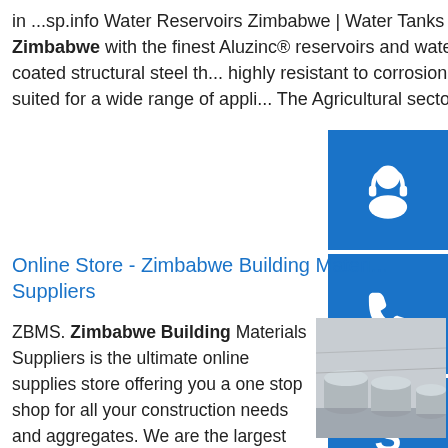in ...sp.info Water Reservoirs Zimbabwe | Water Tanks Zimbabwe - ...We provide the market in Zimbabwe with the finest Aluzinc® reservoirs and water storage tanks. Aluzinc® is a G-300 alloy coated structural steel that is highly resistant to corrosion. Aluzinc® water storage systems are ideally suited for a wide range of applications. The Agricultural sector uses it for irrigation, for sup... livestock ...
Online Store - Zimbabwe Building Material Suppliers
ZBMS. Zimbabwe Building Materials Suppliers is the ultimate online supplies store offering you a one stop shop for all your construction needs and aggregates. We are the largest construction supplies distributor based in Harare and we retail S.A.Z
[Figure (photo): Photo of large cylindrical water tanks or reservoirs lined up outdoors in misty/foggy conditions]